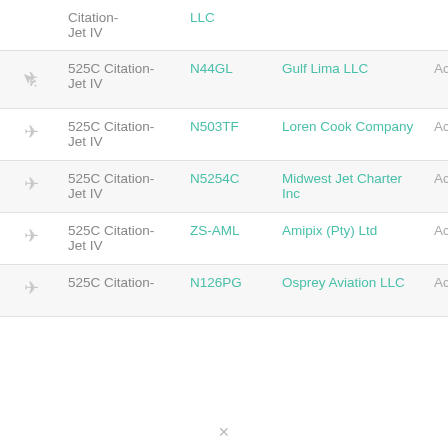|  | Model | Registration | Owner | Status |
| --- | --- | --- | --- | --- |
| [plane] | 525C Citation-Jet IV | LLC |  |  |
| [plane] | 525C Citation-Jet IV | N44GL | Gulf Lima LLC | Active |
| [plane] | 525C Citation-Jet IV | N503TF | Loren Cook Company | Active |
| [plane] | 525C Citation-Jet IV | N5254C | Midwest Jet Charter Inc | Active |
| [plane] | 525C Citation-Jet IV | ZS-AML | Amipix (Pty) Ltd | Active |
| [plane] | 525C Citation-Jet IV | N126PG | Osprey Aviation LLC | Active |